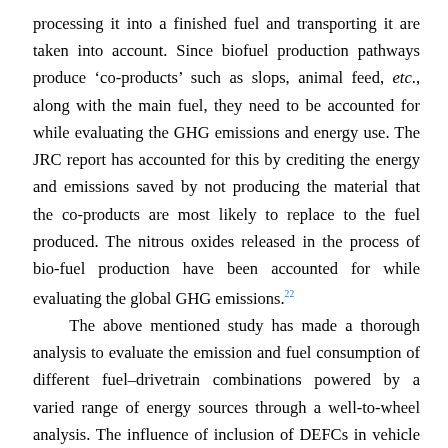processing it into a finished fuel and transporting it are taken into account. Since biofuel production pathways produce 'co-products' such as slops, animal feed, etc., along with the main fuel, they need to be accounted for while evaluating the GHG emissions and energy use. The JRC report has accounted for this by crediting the energy and emissions saved by not producing the material that the co-products are most likely to replace to the fuel produced. The nitrous oxides released in the process of bio-fuel production have been accounted for while evaluating the global GHG emissions.22
The above mentioned study has made a thorough analysis to evaluate the emission and fuel consumption of different fuel–drivetrain combinations powered by a varied range of energy sources through a well-to-wheel analysis. The influence of inclusion of DEFCs in vehicle drivetrains has not been covered, but is discussed here. In addition, we shall also evaluate the effect that the energy mix of electricity production of a country has on the overall